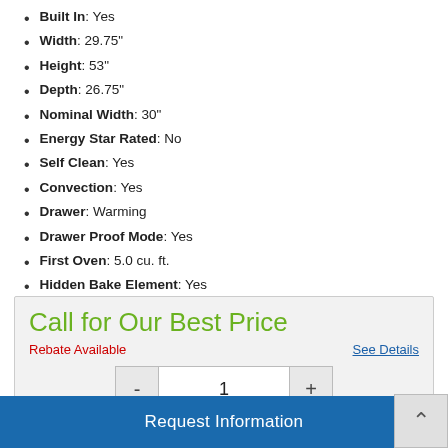Built In: Yes
Width: 29.75"
Height: 53"
Depth: 26.75"
Nominal Width: 30"
Energy Star Rated: No
Self Clean: Yes
Convection: Yes
Drawer: Warming
Drawer Proof Mode: Yes
First Oven: 5.0 cu. ft.
Hidden Bake Element: Yes
Sabbath Mode: Yes
WiFi Connected: Yes
See More
Call for Our Best Price
Rebate Available
See Details
- 1 +
Request Information